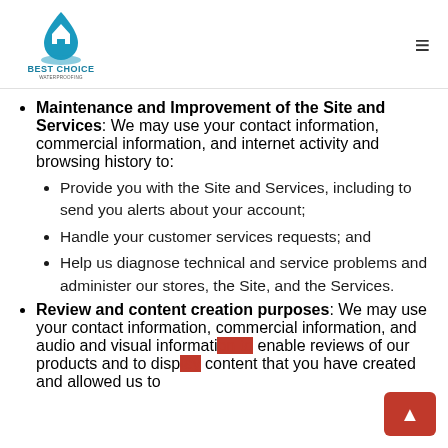[Figure (logo): Best Choice waterproofing company logo with blue flame/house icon and text BEST CHOICE]
Maintenance and Improvement of the Site and Services: We may use your contact information, commercial information, and internet activity and browsing history to: Provide you with the Site and Services, including to send you alerts about your account; Handle your customer services requests; and Help us diagnose technical and service problems and administer our stores, the Site, and the Services.
Review and content creation purposes: We may use your contact information, commercial information, and audio and visual information to enable reviews of our products and to display content that you have created and allowed us to